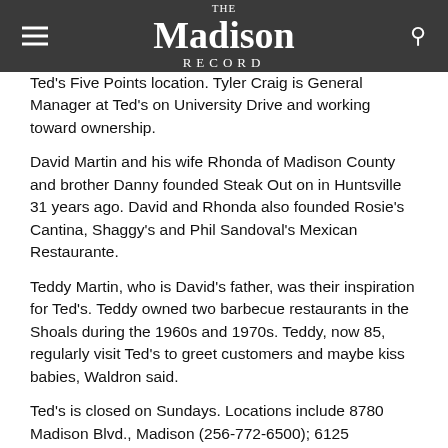The Madison Record
Ted's Five Points location. Tyler Craig is General Manager at Ted's on University Drive and working toward ownership.
David Martin and his wife Rhonda of Madison County and brother Danny founded Steak Out on in Huntsville 31 years ago. David and Rhonda also founded Rosie's Cantina, Shaggy's and Phil Sandoval's Mexican Restaurante.
Teddy Martin, who is David's father, was their inspiration for Ted's. Teddy owned two barbecue restaurants in the Shoals during the 1960s and 1970s. Teddy, now 85, regularly visit Ted's to greet customers and maybe kiss babies, Waldron said.
Ted's is closed on Sundays. Locations include 8780 Madison Blvd., Madison (256-772-6500); 6125 University Drive, Suite E-19, Huntsville (256-489-2600); and 212 Andrew Jackson Way, Huntsville (256-536-5002).
Visit tedsbar-b-q.com and Facebook for special and